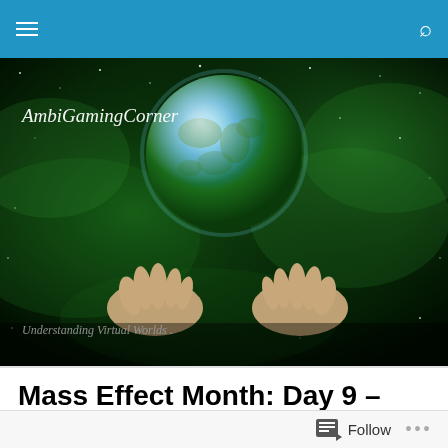AmbiGamingCorner — Navigation bar
[Figure (illustration): AmbiGamingCorner website banner. Dark cosmic green nebula/space background with scattered stars. A large blue-green earth/planet in the center-upper area. Two outstretched hands from below cradling the planet. Text overlay: 'AmbiGamingCorner' (upper left, italic white), 'Understanding Virtual Worlds .' (lower left, italic white), 'Through a Lens of Reality' (lower right, italic white).]
Mass Effect Month: Day 9 – Love in the Air
Posted by Athena | AmbiGaming
We're back with our month-long Mass Effect challenge!
Follow